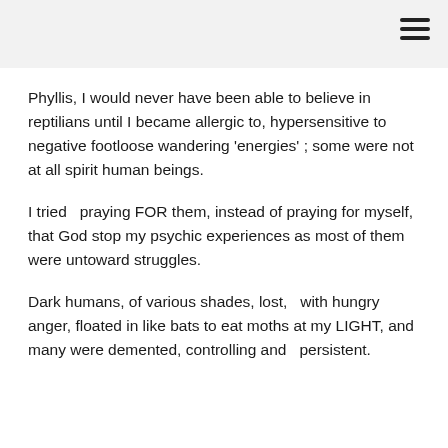Phyllis, I would never have been able to believe in reptilians until I became allergic to, hypersensitive to negative footloose wandering 'energies' ; some were not at all spirit human beings.
I tried  praying FOR them, instead of praying for myself, that God stop my psychic experiences as most of them were untoward struggles.
Dark humans, of various shades, lost,  with hungry anger, floated in like bats to eat moths at my LIGHT, and many were demented, controlling and  persistent.